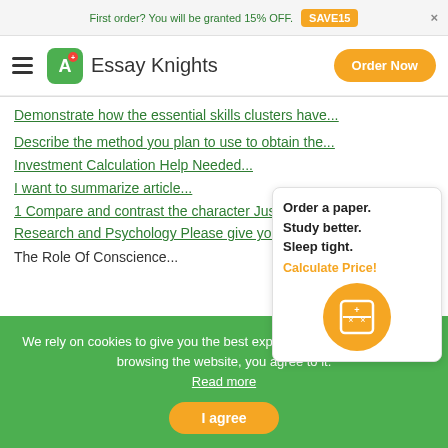First order? You will be granted 15% OFF. SAVE15
[Figure (logo): Essay Knights logo with A+ icon and orange Order Now button]
Demonstrate how the essential skills clusters have...
Describe the method you plan to use to obtain the...
Investment Calculation Help Needed...
I want to summarize article...
1 Compare and contrast the character Justine ... Sa...
Research and Psychology Please give your opinion t...
The Role Of Conscience...
Order a paper. Study better. Sleep tight. Calculate Price!
We rely on cookies to give you the best experience on our website. By browsing the website, you agree to it. Read more
I agree